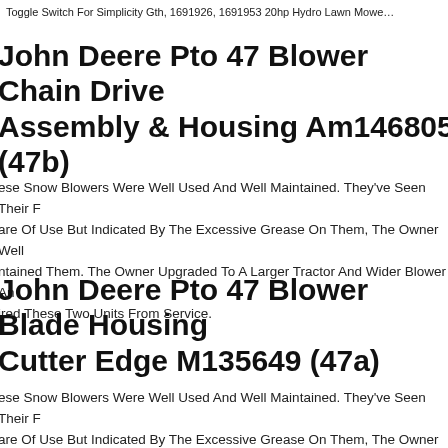Toggle Switch For Simplicity Gth, 1691926, 1691953 20hp Hydro Lawn Mower
John Deere Pto 47 Blower Chain Drive Assembly & Housing Am146805 (47b)
These Snow Blowers Were Well Used And Well Maintained. They've Seen Their Fair Share Of Use But Indicated By The Excessive Grease On Them, The Owner Well Maintained Them. The Owner Upgraded To A Larger Tractor And Wider Blower And Retired These Two Units From Service.
John Deere Pto 47 Blower Blade Housing Cutter Edge M135649 (47a)
These Snow Blowers Were Well Used And Well Maintained. They've Seen Their Fair Share Of Use But Indicated By The Excessive Grease On Them, The Owner Well Maintained Them. The Owner Upgraded To A Larger Tractor And Wider Blower And